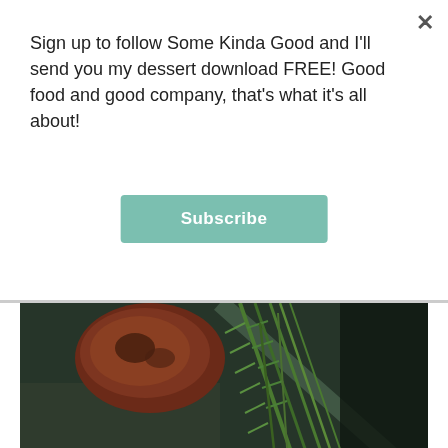Sign up to follow Some Kinda Good and I'll send you my dessert download FREE! Good food and good company, that's what it's all about!
Subscribe
[Figure (photo): Close-up photo of herb-roasted pork tenderloin on a dark pan with fresh rosemary sprigs]
The star of this show is the Herb-Roasted Pork Tenderloin. This
Advertisements